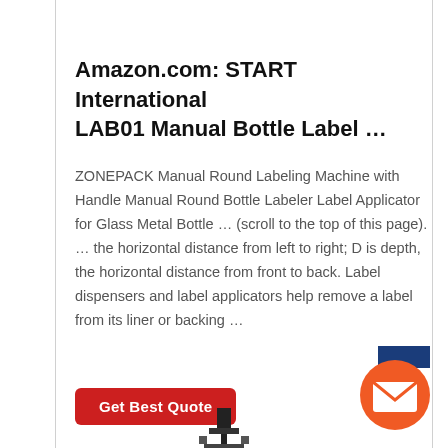Amazon.com: START International LAB01 Manual Bottle Label …
ZONEPACK Manual Round Labeling Machine with Handle Manual Round Bottle Labeler Label Applicator for Glass Metal Bottle … (scroll to the top of this page). … the horizontal distance from left to right; D is depth, the horizontal distance from front to back. Label dispensers and label applicators help remove a label from its liner or backing …
[Figure (other): Red 'Get Best Quote' button]
[Figure (other): Orange circular email/envelope icon button in bottom-right corner with blue tab above it]
[Figure (other): Small machine illustration at bottom center of page]